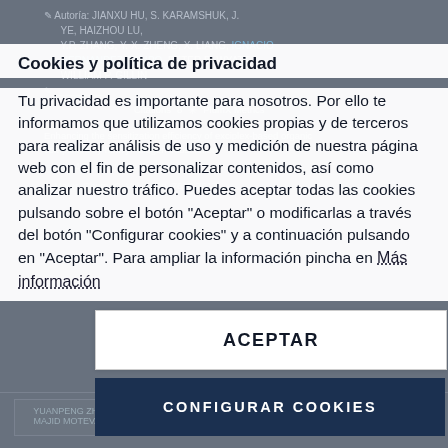Autoría: JIANXU HU, S. KARAMSHUK, J. YE, HAIZHOU LU, Y.P. ZHANG, Y. X. ZHENG, X. LIANG, IGNACIO HERNANDEZ CAMPO, PETER B. WYATT, WILLIAM P. GILLIN
Citations 8 PlumX Metrics
Enhancing the sensitization efficiency of exciplex-based organic complexes by heavy halogen substitution
Artículo de Revista
Cookies y política de privacidad
Tu privacidad es importante para nosotros. Por ello te informamos que utilizamos cookies propias y de terceros para realizar análisis de uso y medición de nuestra página web con el fin de personalizar contenidos, así como analizar nuestro tráfico. Puedes aceptar todas las cookies pulsando sobre el botón "Aceptar" o modificarlas a través del botón "Configurar cookies" y a continuación pulsando en "Aceptar". Para ampliar la información pincha en Más información
ACEPTAR
CONFIGURAR COOKIES
YUANPENG ZHANG, ZHENG; Y. X., X. LIANG, MAJID MOTEVALLI, I. ABRAHAMS, IGNACIO